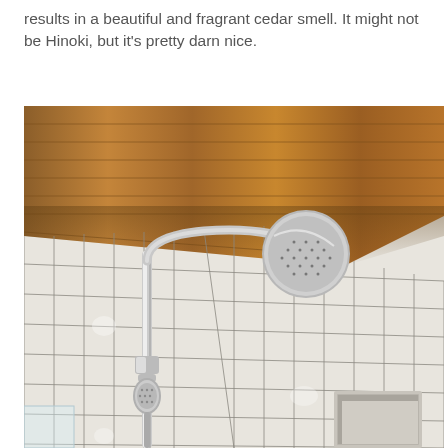results in a beautiful and fragrant cedar smell. It might not be Hinoki, but it's pretty darn nice.
[Figure (photo): Interior shower photo showing white square tiles on walls, a chrome shower column with rain showerhead and handheld shower, and a warm-toned wood plank ceiling. A built-in niche shelf is visible on the lower right wall.]